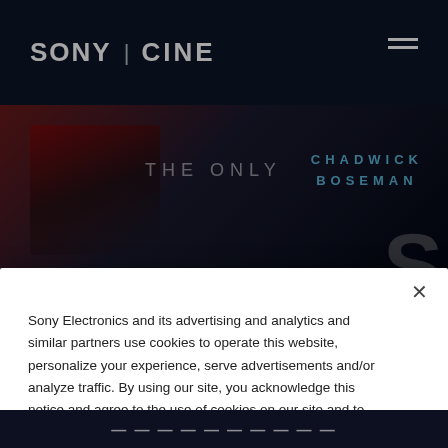[Figure (screenshot): Sony Cine website header with white Sony and Cine logo on dark navy background, hamburger menu icon on right]
[Figure (photo): Movie banner showing Chadwick Boseman film promotional image with 'THE ONLY' text overlay on dark red and blue background, 'CHADWICK BOSEMAN' text in blue on right]
Sony Electronics and its advertising and analytics and similar partners use cookies to operate this website, personalize your experience, serve advertisements and/or analyze traffic. By using our site, you acknowledge this notice and agree to the use of cookies on our site and to our Privacy Policy.
Manage Cookies